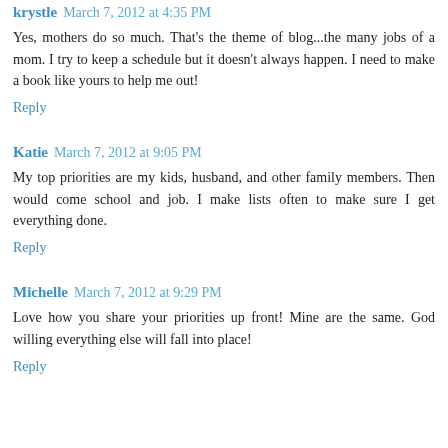krystle March 7, 2012 at 4:35 PM
Yes, mothers do so much. That's the theme of blog...the many jobs of a mom. I try to keep a schedule but it doesn't always happen. I need to make a book like yours to help me out!
Reply
Katie March 7, 2012 at 9:05 PM
My top priorities are my kids, husband, and other family members. Then would come school and job. I make lists often to make sure I get everything done.
Reply
Michelle March 7, 2012 at 9:29 PM
Love how you share your priorities up front! Mine are the same. God willing everything else will fall into place!
Reply